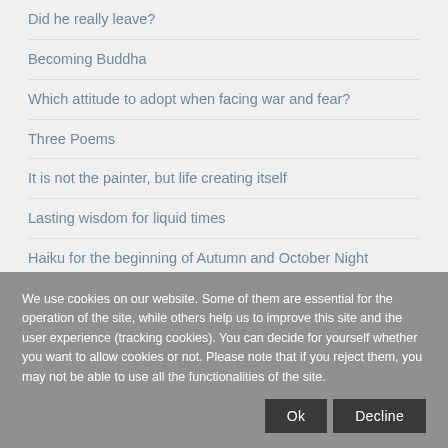Did he really leave?
Becoming Buddha
Which attitude to adopt when facing war and fear?
Three Poems
It is not the painter, but life creating itself
Lasting wisdom for liquid times
Haiku for the beginning of Autumn and October Night
The three seals of the Dharma
We use cookies on our website. Some of them are essential for the operation of the site, while others help us to improve this site and the user experience (tracking cookies). You can decide for yourself whether you want to allow cookies or not. Please note that if you reject them, you may not be able to use all the functionalities of the site.
Ok
Decline